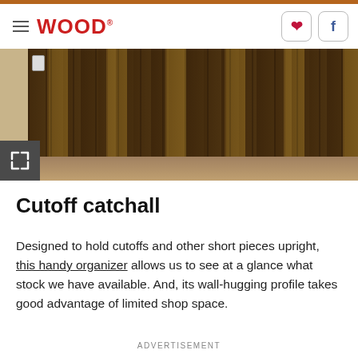WOOD.
[Figure (photo): Overhead view of a wooden cutoff organizer mounted on a wall, holding various short pieces of wood upright in vertical slots. The organizer is made of wood with slatted construction. An electrical outlet is visible on the wall in the upper left.]
Cutoff catchall
Designed to hold cutoffs and other short pieces upright, this handy organizer allows us to see at a glance what stock we have available. And, its wall-hugging profile takes good advantage of limited shop space.
ADVERTISEMENT